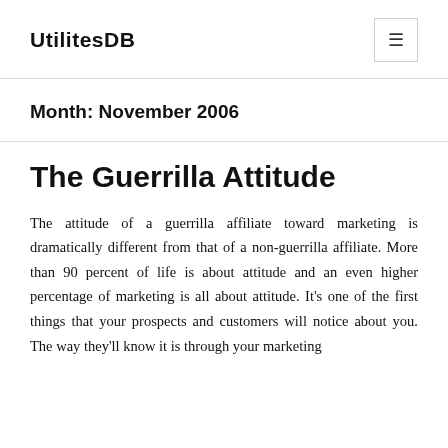UtilitesDB
Month: November 2006
The Guerrilla Attitude
The attitude of a guerrilla affiliate toward marketing is dramatically different from that of a non-guerrilla affiliate. More than 90 percent of life is about attitude and an even higher percentage of marketing is all about attitude. It's one of the first things that your prospects and customers will notice about you. The way they'll know it is through your marketing